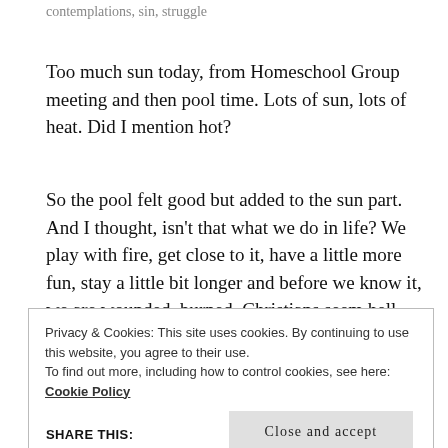contemplations, sin, struggle
Too much sun today, from Homeschool Group meeting and then pool time. Lots of sun, lots of heat. Did I mention hot?
So the pool felt good but added to the sun part. And I thought, isn't that what we do in life? We play with fire, get close to it, have a little more fun, stay a little bit longer and before we know it, we are wounded, burned. Christians seem hell bent on seeing how much of the world they can enjoy and still be saved,
Privacy & Cookies: This site uses cookies. By continuing to use this website, you agree to their use.
To find out more, including how to control cookies, see here:
Cookie Policy

Close and accept
SHARE THIS: